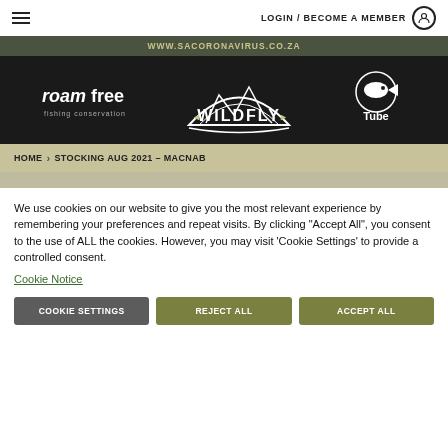LOGIN / BECOME A MEMBER
WWW.SACORONAVIRUS.CO.ZA
[Figure (logo): Roam Free fishing conservation logo, Wildfly logo, Fish Tube logo on dark background]
HOME > STOCKING AUG 2021 – MACNAB
We use cookies on our website to give you the most relevant experience by remembering your preferences and repeat visits. By clicking "Accept All", you consent to the use of ALL the cookies. However, you may visit 'Cookie Settings' to provide a controlled consent. Cookie Notice
COOKIE SETTINGS | REJECT ALL | ACCEPT ALL